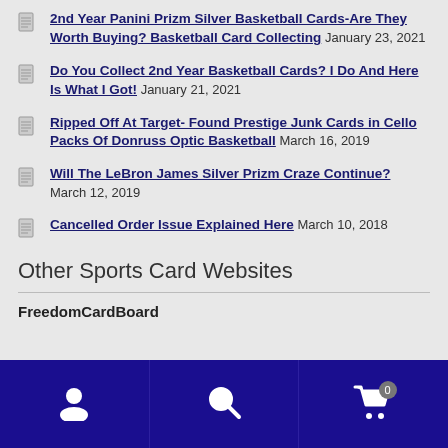2nd Year Panini Prizm Silver Basketball Cards-Are They Worth Buying? Basketball Card Collecting January 23, 2021
Do You Collect 2nd Year Basketball Cards? I Do And Here Is What I Got! January 21, 2021
Ripped Off At Target- Found Prestige Junk Cards in Cello Packs Of Donruss Optic Basketball March 16, 2019
Will The LeBron James Silver Prizm Craze Continue? March 12, 2019
Cancelled Order Issue Explained Here March 10, 2018
Other Sports Card Websites
FreedomCardBoard
Navigation bar with user, search, and cart (0) icons